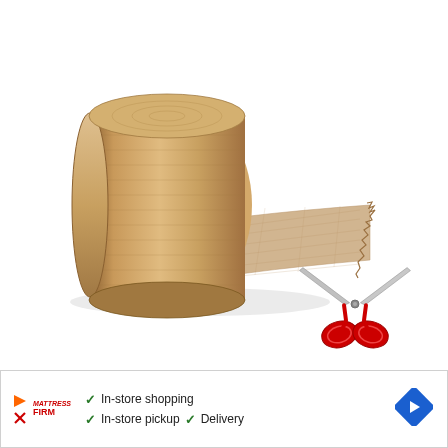[Figure (photo): A rolled-up burlap fabric or jute material roll photographed on a white background. Next to it is a pair of red-handled scissors, suggesting the fabric can be cut to size.]
In-store shopping  In-store pickup  Delivery